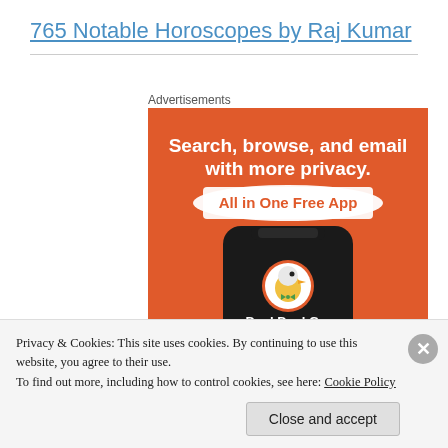765 Notable Horoscopes by Raj Kumar
Advertisements
[Figure (screenshot): DuckDuckGo advertisement showing a smartphone with DuckDuckGo logo and text: Search, browse, and email with more privacy. All in One Free App.]
Privacy & Cookies: This site uses cookies. By continuing to use this website, you agree to their use.
To find out more, including how to control cookies, see here: Cookie Policy
Close and accept